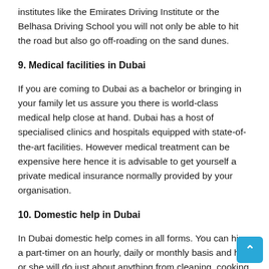institutes like the Emirates Driving Institute or the Belhasa Driving School you will not only be able to hit the road but also go off-roading on the sand dunes.
9. Medical facilities in Dubai
If you are coming to Dubai as a bachelor or bringing in your family let us assure you there is world-class medical help close at hand. Dubai has a host of specialised clinics and hospitals equipped with state-of-the-art facilities. However medical treatment can be expensive here hence it is advisable to get yourself a private medical insurance normally provided by your organisation.
10. Domestic help in Dubai
In Dubai domestic help comes in all forms. You can hire a part-timer on an hourly, daily or monthly basis and he or she will do just about anything from cleaning, cooking or even baby sitting. You can even sponsor your own live-in help. But please bear in mind that Friday is an official